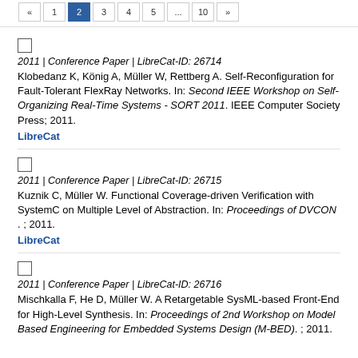1 2 3 4 5 ... 10 »
2011 | Conference Paper | LibreCat-ID: 26714
Klobedanz K, König A, Müller W, Rettberg A. Self-Reconfiguration for Fault-Tolerant FlexRay Networks. In: Second IEEE Workshop on Self-Organizing Real-Time Systems - SORT 2011. IEEE Computer Society Press; 2011.
LibreCat
2011 | Conference Paper | LibreCat-ID: 26715
Kuznik C, Müller W. Functional Coverage-driven Verification with SystemC on Multiple Level of Abstraction. In: Proceedings of DVCON . ; 2011.
LibreCat
2011 | Conference Paper | LibreCat-ID: 26716
Mischkalla F, He D, Müller W. A Retargetable SysML-based Front-End for High-Level Synthesis. In: Proceedings of 2nd Workshop on Model Based Engineering for Embedded Systems Design (M-BED). ; 2011.